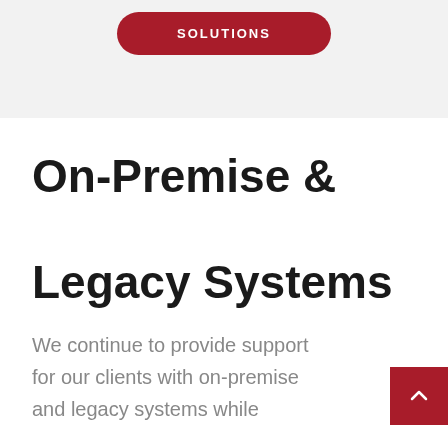[Figure (other): Red rounded rectangle button with white uppercase text SOLUTIONS on a light grey background]
On-Premise & Legacy Systems
We continue to provide support for our clients with on-premise and legacy systems while